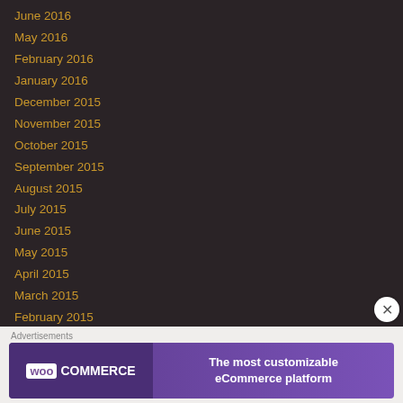June 2016
May 2016
February 2016
January 2016
December 2015
November 2015
October 2015
September 2015
August 2015
July 2015
June 2015
May 2015
April 2015
March 2015
February 2015
January 2015
December 2014
[Figure (other): WooCommerce advertisement banner: 'The most customizable eCommerce platform']